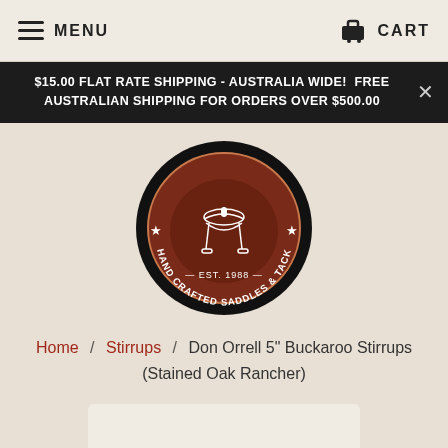MENU   CART
$15.00 FLAT RATE SHIPPING - AUSTRALIA WIDE!  FREE AUSTRALIAN SHIPPING FOR ORDERS OVER $500.00
[Figure (logo): Bethel Saddlery circular logo — dark oval with brown interior, white saddle illustration, text: BETHEL SADDLERY, EST. 1988, HAND CRAFTED SADDLES & TACK, stars on sides]
Home / Stirrups / Don Orrell 5" Buckaroo Stirrups (Stained Oak Rancher)